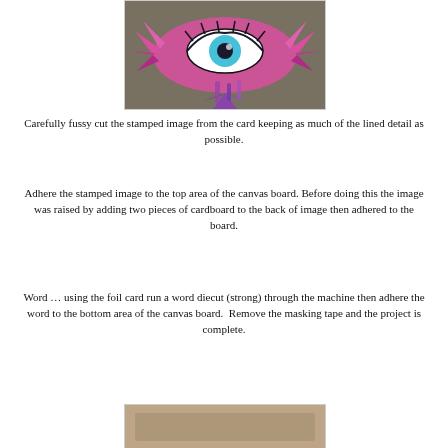[Figure (photo): A colorful fussy-cut stamped eye image with pink, purple, and teal colors on a grey background.]
Carefully fussy cut the stamped image from the card keeping as much of the lined detail as possible.
Adhere the stamped image to the top area of the canvas board. Before doing this the image was raised by adding two pieces of cardboard to the back of image then adhered to the board.
Word … using the foil card run a word diecut (strong) through the machine then adhere the word to the bottom area of the canvas board.  Remove the masking tape and the project is complete.
[Figure (photo): Partial view of the bottom of the completed canvas board project on a beige/tan background.]